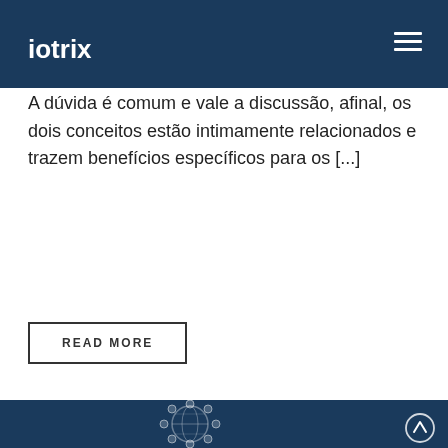iotrix
For the sake of viewer convenience, the content is shown below in the alternative language. You may click the link to switch the active language. A dúvida é comum e vale a discussão, afinal, os dois conceitos estão intimamente relacionados e trazem benefícios específicos para os [...]
READ MORE
[Figure (illustration): Dark blue banner with IoT globe illustration showing connected icons arranged in a circle around a world map graphic, with a scroll-up arrow button in the bottom right corner]